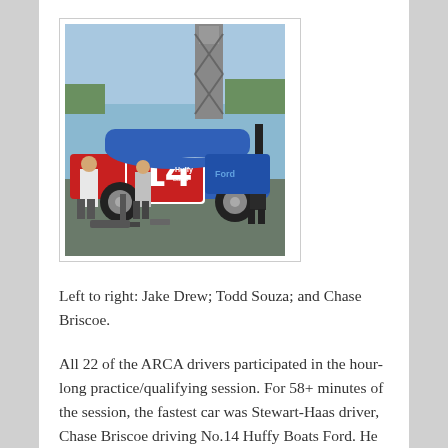[Figure (photo): Photo of NASCAR race car number 14 with blue, red, and white Huffy Boats Ford livery. Three people visible near the car in a pit/garage area with a scissor lift visible in background.]
Left to right: Jake Drew; Todd Souza; and Chase Briscoe.
All 22 of the ARCA drivers participated in the hour-long practice/qualifying session. For 58+ minutes of the session, the fastest car was Stewart-Haas driver, Chase Briscoe driving No.14 Huffy Boats Ford. He was going 88.688 mph for a 1.42.191 lap around the 1.3 to 2.52 mile...